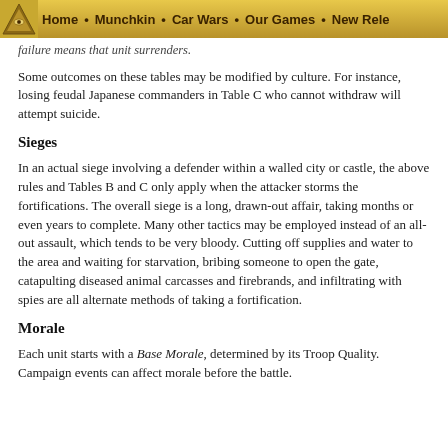Home • Munchkin • Car Wars • Our Games • New Rele
failure means that unit surrenders.
Some outcomes on these tables may be modified by culture. For instance, losing feudal Japanese commanders in Table C who cannot withdraw will attempt suicide.
Sieges
In an actual siege involving a defender within a walled city or castle, the above rules and Tables B and C only apply when the attacker storms the fortifications. The overall siege is a long, drawn-out affair, taking months or even years to complete. Many other tactics may be employed instead of an all-out assault, which tends to be very bloody. Cutting off supplies and water to the area and waiting for starvation, bribing someone to open the gate, catapulting diseased animal carcasses and firebrands, and infiltrating with spies are all alternate methods of taking a fortification.
Morale
Each unit starts with a Base Morale, determined by its Troop Quality. Campaign events can affect morale before the battle.